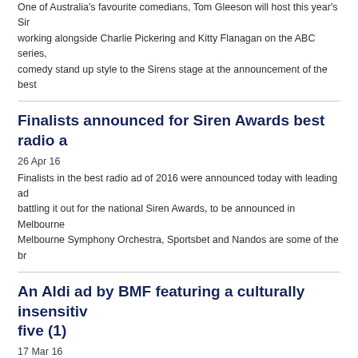One of Australia's favourite comedians, Tom Gleeson will host this year's Sir working alongside Charlie Pickering and Kitty Flanagan on the ABC series, comedy stand up style to the Sirens stage at the announcement of the best
Finalists announced for Siren Awards best radio a
26 Apr 16
Finalists in the best radio ad of 2016 were announced today with leading ad battling it out for the national Siren Awards, to be announced in Melbourne Melbourne Symphony Orchestra, Sportsbet and Nandos are some of the br
An Aldi ad by BMF featuring a culturally insensitiv five (1)
17 Mar 16
An Aldi ad by BMF titled “El Toro Macho” has won round five overall and the ad features a liquor distiller from Spain speaking English and a culturally ins
[read more]